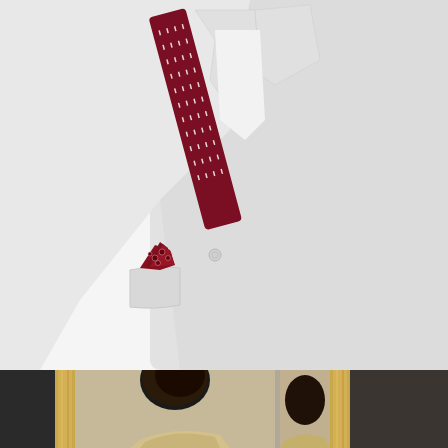[Figure (photo): Close-up of a white suit jacket with white dress shirt collar and dark red/burgundy knit tie with white dot pattern, and a burgundy pocket square with floral pattern in the breast pocket. Product shot on mannequin against white background.]
[Figure (photo): Partial view of a man with dark hair, seen from behind/side, wearing a gold/cream colored suit jacket, reflected in an ornate gold-framed mirror.]